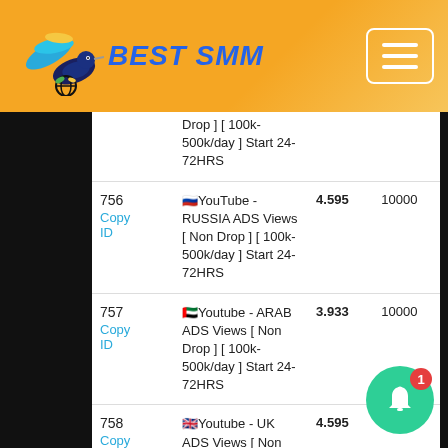BEST SMM
| ID | Service | Price | Min |
| --- | --- | --- | --- |
|  | Drop ] [ 100k-500k/day ] Start 24-72HRS |  |  |
| 756
Copy ID | 🇷🇺YouTube - RUSSIA ADS Views [ Non Drop ] [ 100k-500k/day ] Start 24-72HRS | 4.595 | 10000 |
| 757
Copy ID | 🇦🇪Youtube - ARAB ADS Views [ Non Drop ] [ 100k-500k/day ] Start 24-72HRS | 3.933 | 10000 |
| 758
Copy ID | 🇬🇧Youtube - UK ADS Views [ Non Drop ] [ 100k-500k/day ] | 4.595 | 10... |